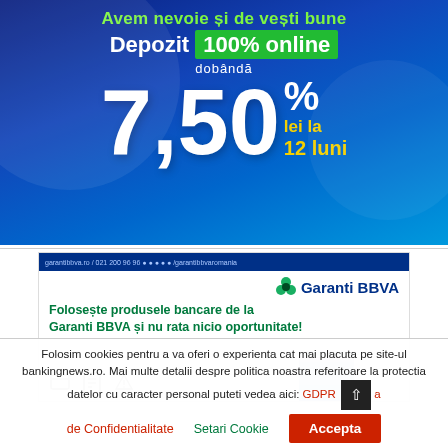[Figure (infographic): Bank advertisement for online deposit with 7.50% annual interest rate for 12 months in RON (lei). Blue gradient background with text: 'Avem nevoie si de vesti bune', 'Depozit 100% online', 'dobanda', '7,50%', 'lei la 12 luni']
[Figure (infographic): Garanti BBVA bank advertisement: 'Foloseste produsele bancare de la Garanti BBVA si nu rata nicio oportunitate!' with Garanti BBVA logo, person image and icons]
Folosim cookies pentru a va oferi o experienta cat mai placuta pe site-ul bankingnews.ro. Mai multe detalii despre politica noastra referitoare la protectia datelor cu caracter personal puteti vedea aici: GDPR a de Confidentialitate   Setari Cookie   Accepta